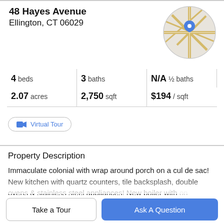48 Hayes Avenue
Ellington, CT 06029
[Figure (map): Circular map thumbnail showing street map with a blue location pin marker]
4 beds   3 baths   N/A ½ baths
2.07 acres   2,750 sqft   $194 / sqft
Virtual Tour
Property Description
Immaculate colonial with wrap around porch on a cul de sac! New kitchen with quartz counters, tile backsplash, double ovens & stainless steel appliances! New boiler with on demand hot water. 2022, new 1st floor full bath...
Take a Tour
Ask A Question